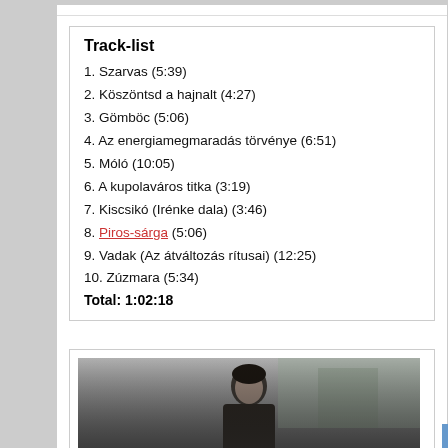Track-list
1. Szarvas (5:39)
2. Köszöntsd a hajnalt (4:27)
3. Gömböc (5:06)
4. Az energiamegmaradás törvénye (6:51)
5. Móló (10:05)
6. A kupolaváros titka (3:19)
7. Kiscsikó (Irénke dala) (3:46)
8. Piros-sárga (5:06)
9. Vadak (Az átváltozás rítusai) (12:25)
10. Zúzmara (5:34)
Total: 1:02:18
[Figure (photo): Black and white photo of a man in a dark jacket outdoors with blurred background trees]